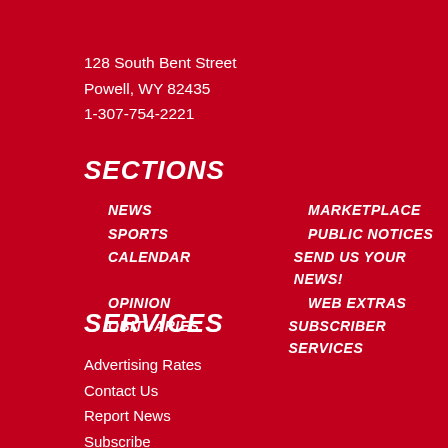128 South Bent Street
Powell, WY 82435
1-307-754-2221
SECTIONS
NEWS
MARKETPLACE
SPORTS
PUBLIC NOTICES
CALENDAR
SEND US YOUR NEWS!
OPINION
WEB EXTRAS
OBITUARIES
SUBSCRIBER SERVICES
SERVICES
Advertising Rates
Contact Us
Report News
Subscribe
Order Photos